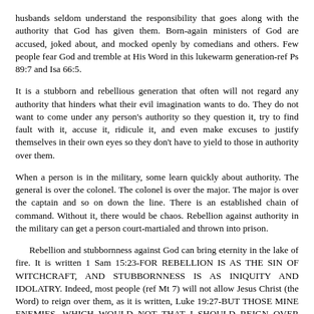husbands seldom understand the responsibility that goes along with the authority that God has given them. Born-again ministers of God are accused, joked about, and mocked openly by comedians and others. Few people fear God and tremble at His Word in this lukewarm generation-ref Ps 89:7 and Isa 66:5.

It is a stubborn and rebellious generation that often will not regard any authority that hinders what their evil imagination wants to do. They do not want to come under any person's authority so they question it, try to find fault with it, accuse it, ridicule it, and even make excuses to justify themselves in their own eyes so they don't have to yield to those in authority over them.

When a person is in the military, some learn quickly about authority. The general is over the colonel. The colonel is over the major. The major is over the captain and so on down the line. There is an established chain of command. Without it, there would be chaos. Rebellion against authority in the military can get a person court-martialed and thrown into prison.

Rebellion and stubbornness against God can bring eternity in the lake of fire. It is written 1 Sam 15:23-FOR REBELLION IS AS THE SIN OF WITCHCRAFT, AND STUBBORNNESS IS AS INIQUITY AND IDOLATRY. Indeed, most people (ref Mt 7) will not allow Jesus Christ (the Word) to reign over them, as it is written, Luke 19:27-BUT THOSE MINE ENEMIES, WHICH WOULD NOT THAT I SHOULD REIGN OVER THEM, BRING HITHER, AND SLAY THEM BEFORE ME.

Some rebellious and stubborn people try to go around God's authority. They try to sidestep God reigning over them by turning to another authority as the people did in 1 Sam 8:7-AND THE LORD SAID UNTO SAMUEL, HEARKEN UNTO THE VOICE OF THE PEOPLE IN ALL THAT THEY SAY UNTO THEE: FOR THEY HAVE NOT REJECTED THEE, BUT THEY HAVE REJECTED ME, THAT I SHOULD NOT REIGN OVER THEM.

This is what many people do regarding churches. God may send them to a good